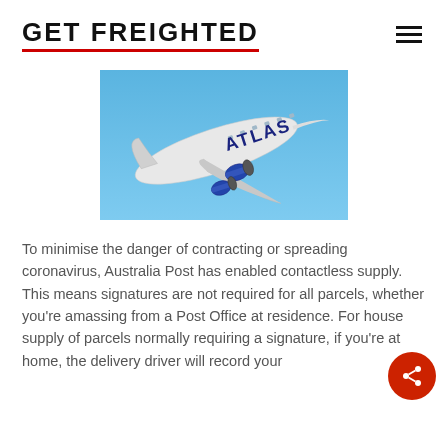GET FREIGHTED
[Figure (photo): Atlas Air Boeing 747 cargo aircraft in flight against blue sky, white fuselage with ATLAS text in blue letters]
To minimise the danger of contracting or spreading coronavirus, Australia Post has enabled contactless supply. This means signatures are not required for all parcels, whether you’re amassing from a Post Office at residence. For house supply of parcels normally requiring a signature, if you’re at home, the delivery driver will record your